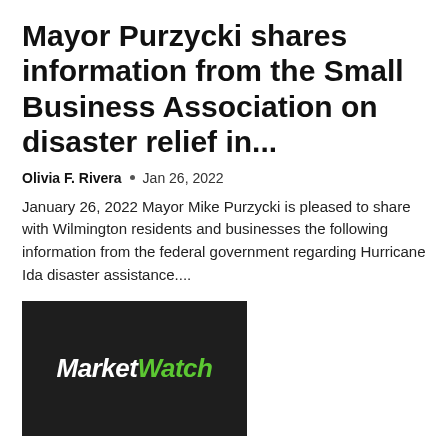Mayor Purzycki shares information from the Small Business Association on disaster relief in...
Olivia F. Rivera  •  Jan 26, 2022
January 26, 2022 Mayor Mike Purzycki is pleased to share with Wilmington residents and businesses the following information from the federal government regarding Hurricane Ida disaster assistance....
[Figure (logo): MarketWatch logo — dark background with 'Market' in white bold italic and 'Watch' in green bold italic]